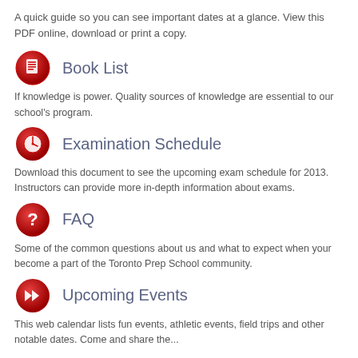A quick guide so you can see important dates at a glance. View this PDF online, download or print a copy.
Book List
If knowledge is power. Quality sources of knowledge are essential to our school's program.
Examination Schedule
Download this document to see the upcoming exam schedule for 2013. Instructors can provide more in-depth information about exams.
FAQ
Some of the common questions about us and what to expect when your become a part of the Toronto Prep School community.
Upcoming Events
This web calendar lists fun events, athletic events, field trips and other notable dates. Come and share the...